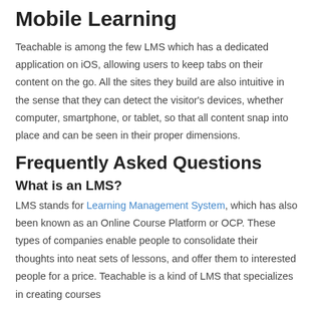Mobile Learning
Teachable is among the few LMS which has a dedicated application on iOS, allowing users to keep tabs on their content on the go. All the sites they build are also intuitive in the sense that they can detect the visitor’s devices, whether computer, smartphone, or tablet, so that all content snap into place and can be seen in their proper dimensions.
Frequently Asked Questions
What is an LMS?
LMS stands for Learning Management System, which has also been known as an Online Course Platform or OCP. These types of companies enable people to consolidate their thoughts into neat sets of lessons, and offer them to interested people for a price. Teachable is a kind of LMS that specializes in creating courses